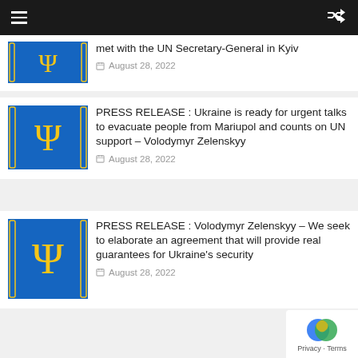Navigation bar with hamburger menu and shuffle icon
met with the UN Secretary-General in Kyiv — August 28, 2022
PRESS RELEASE : Ukraine is ready for urgent talks to evacuate people from Mariupol and counts on UN support – Volodymyr Zelenskyy — August 28, 2022
PRESS RELEASE : Volodymyr Zelenskyy – We seek to elaborate an agreement that will provide real guarantees for Ukraine's security — August 28, 2022